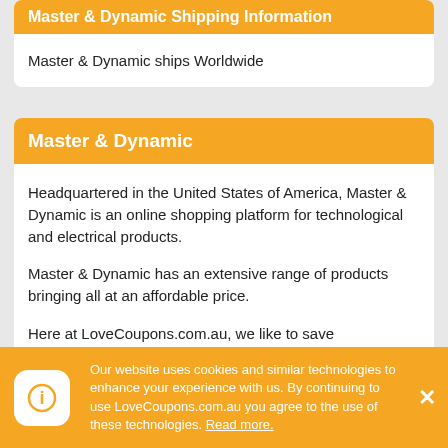Master & Dynamic Shipping Information
Master & Dynamic ships Worldwide
Master & Dynamic
Headquartered in the United States of America, Master & Dynamic is an online shopping platform for technological and electrical products.
Master & Dynamic has an extensive range of products bringing all at an affordable price.
Here at LoveCoupons.com.au, we like to save
Our website uses cookies and similar technologies to enhance your experience with us. By continuing to use LoveCoupons.com.au you agree to the use of these technologies. Read more.